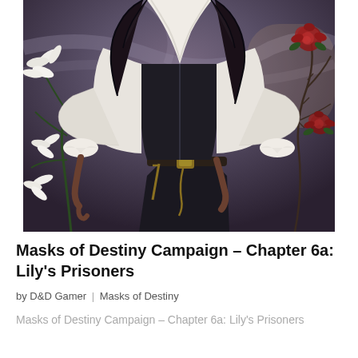[Figure (illustration): Fantasy illustration of a woman in a white ruffled blouse, dark corset, and dark pants with a golden belt/chain. She has long black hair. White lilies are on her left side, red roses on branches to her right. Background is a dramatic stormy sky.]
Masks of Destiny Campaign – Chapter 6a: Lily's Prisoners
by D&D Gamer | Masks of Destiny
Masks of Destiny Campaign – Chapter 6a: Lily's Prisoners